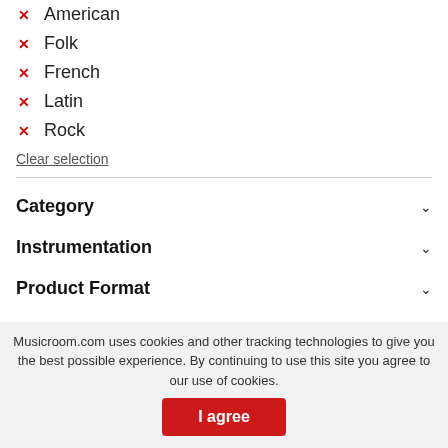American
Folk
French
Latin
Rock
Clear selection
Category
Instrumentation
Product Format
Genre
Publisher
Style
Musicroom.com uses cookies and other tracking technologies to give you the best possible experience. By continuing to use this site you agree to our use of cookies.
I agree